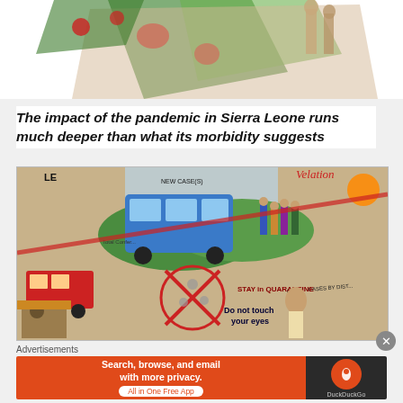[Figure (illustration): Partial hand-drawn illustration visible at top of page, colorful artwork related to pandemic in Sierra Leone]
The impact of the pandemic in Sierra Leone runs much deeper than what its morbidity suggests
[Figure (illustration): Colorful hand-drawn mural/artwork depicting scenes from the COVID-19 pandemic in Sierra Leone: buses, markets, people, virus symbols with X marks, text reading 'Do not touch your eyes', 'Stay in Quarantine', 'New Cases', charts, quarantine messaging]
Advertisements
[Figure (infographic): DuckDuckGo advertisement banner: 'Search, browse, and email with more privacy. All in One Free App' on orange background with DuckDuckGo logo on dark right panel]